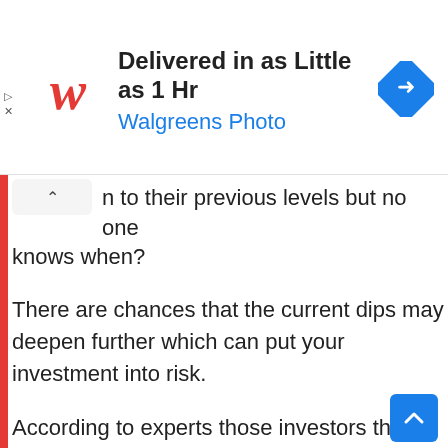[Figure (other): Walgreens advertisement banner: 'Delivered in as Little as 1 Hr' with Walgreens Photo logo and navigation arrow icon]
n to their previous levels but no one knows when?
There are chances that the current dips may deepen further which can put your investment into risk.
According to experts those investors that rely on “buying the dip” strategy need to decide upon a particular amount that they are willing to risk by investing in the cryptocurrencies and